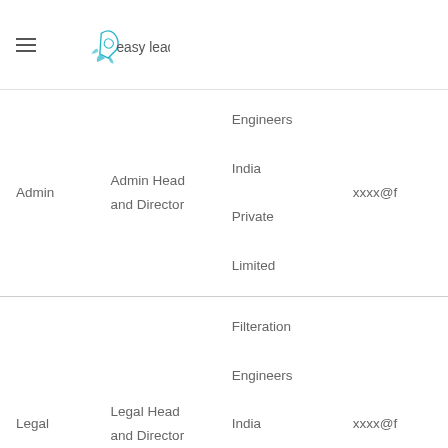easy leadz
| Admin | Admin Head and Director | Engineers India Private Limited | xxxx@f |
| Legal | Legal Head and Director | Filteration Engineers India Private Limited | xxxx@f |
| CSR | CSR Head | Filteration Engineers India | xxxx@f |